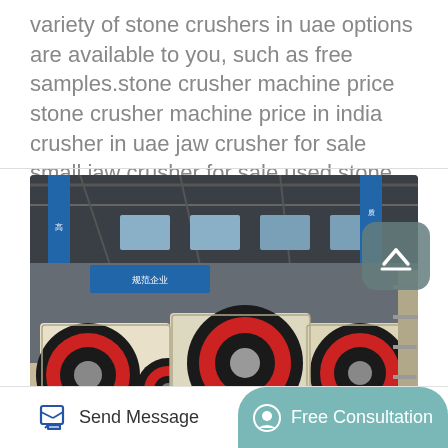variety of stone crushers in uae options are available to you, such as free samples.stone crusher machine price stone crusher machine price in india crusher in uae jaw crusher for sale small jaw crusher for sale used stone.
[Figure (photo): Industrial factory floor showing multiple large jaw crusher machines with black and red flywheel discs and cream-colored frames, inside a warehouse with blue banners and steel roof structure visible in the background.]
Send Message
Free Consultation